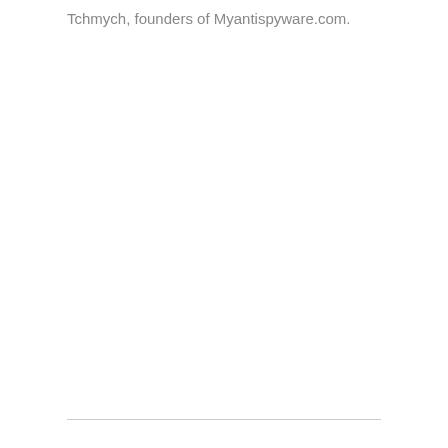Tchmych, founders of Myantispyware.com.